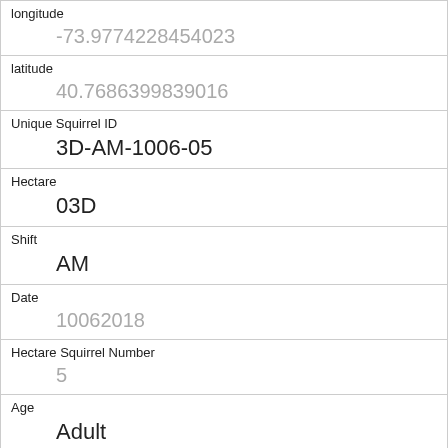| longitude | -73.9774228454023 |
| latitude | 40.7686399839016 |
| Unique Squirrel ID | 3D-AM-1006-05 |
| Hectare | 03D |
| Shift | AM |
| Date | 10062018 |
| Hectare Squirrel Number | 5 |
| Age | Adult |
| Primary Fur Color | Cinnamon |
| Highlight Fur Color | Gray |